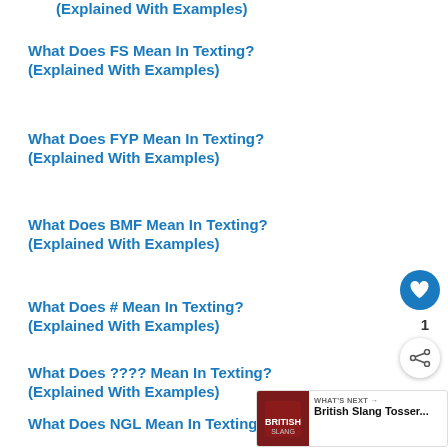(Explained With Examples)
What Does FS Mean In Texting?
(Explained With Examples)
What Does FYP Mean In Texting?
(Explained With Examples)
What Does BMF Mean In Texting?
(Explained With Examples)
What Does # Mean In Texting?
(Explained With Examples)
What Does ???? Mean In Texting?
(Explained With Examples)
What Does NGL Mean In Texting?
(Explained With Examples)